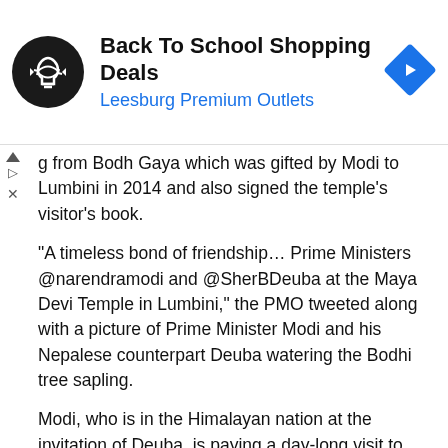[Figure (infographic): Advertisement banner: Back To School Shopping Deals, Leesburg Premium Outlets, with a circular logo and diamond-shaped arrow icon]
g from Bodh Gaya which was gifted by Modi to Lumbini in 2014 and also signed the temple's visitor's book.
“A timeless bond of friendship… Prime Ministers @narendramodi and @SherBDeuba at the Maya Devi Temple in Lumbini,” the PMO tweeted along with a picture of Prime Minister Modi and his Nepalese counterpart Deuba watering the Bodhi tree sapling.
Modi, who is in the Himalayan nation at the invitation of Deuba, is paying a day-long visit to Lumbini on the occasion of Buddha Purnima.
"Landed in Nepal. Happy to be among the wonderful people of Nepal on the special occasion of Buddha Purnima. Looking forward to the programmes in